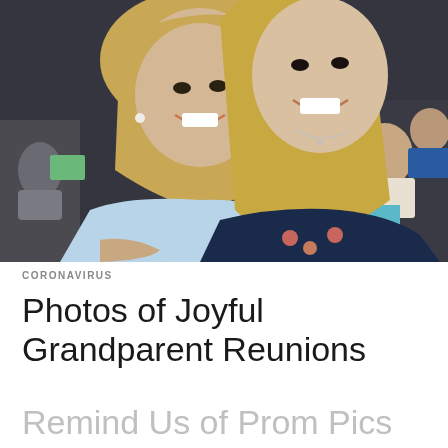[Figure (photo): Two smiling women with long blonde hair posing together at an outdoor evening event. The woman on the left wears a light blue top, the woman on the right wears a dark navy floral blouse. People sitting in chairs are visible in the background.]
CORONAVIRUS
Photos of Joyful Grandparent Reunions
Remind Us of Prom Pics